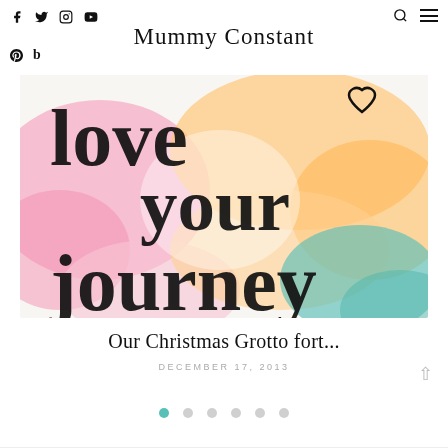Social icons: Facebook, Twitter, Instagram, YouTube | Logo: Mummy Constant | Search icon | Menu icon | Pinterest, Bloglovin icons
[Figure (illustration): Colorful watercolor background with pink, orange, teal and white blobs. Overlaid with large black brush-script calligraphy text reading 'love your journey' with a small heart drawn above the text.]
Our Christmas Grotto fort...
DECEMBER 17, 2013
[Figure (other): Pagination dots with 6 dots, first dot is teal/active, remaining 5 are grey]